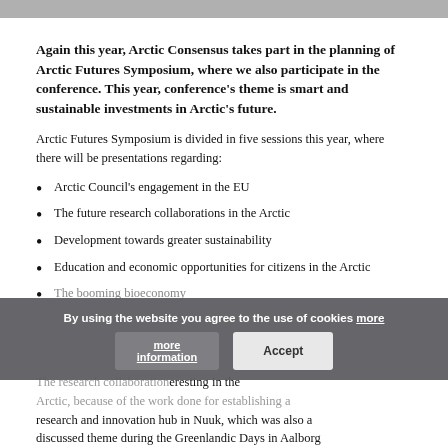[Figure (photo): Top portion of a photo, partially cropped, showing what appears to be an Arctic scene.]
Again this year, Arctic Consensus takes part in the planning of Arctic Futures Symposium, where we also participate in the conference. This year, conference's theme is smart and sustainable investments in Arctic's future.
Arctic Futures Symposium is divided in five sessions this year, where there will be presentations regarding:
Arctic Council's engagement in the EU
The future research collaborations in the Arctic
Development towards greater sustainability
Education and economic opportunities for citizens in the Arctic
The booming bioeconomy
By using the website you agree to the use of cookies more information Accept
The research collaboration... interesting in the Arctic, because of the work done for establishing a research and innovation hub in Nuuk, which was also a discussed theme during the Greenlandic Days in Aalborg